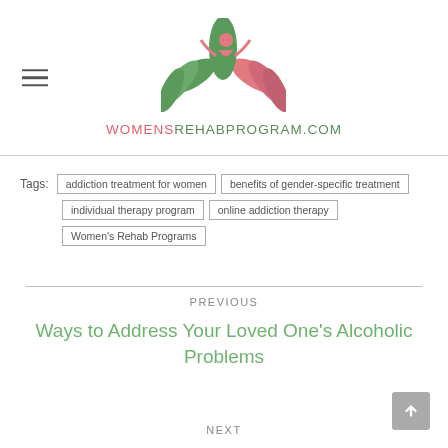[Figure (logo): Women's Rehab Program lotus flower logo with green leaves and pink petals and a human figure]
WOMENSREHABPROGRAM.COM
Tags: addiction treatment for women | benefits of gender-specific treatment | individual therapy program | online addiction therapy | Women's Rehab Programs
PREVIOUS
Ways to Address Your Loved One's Alcoholic Problems
NEXT